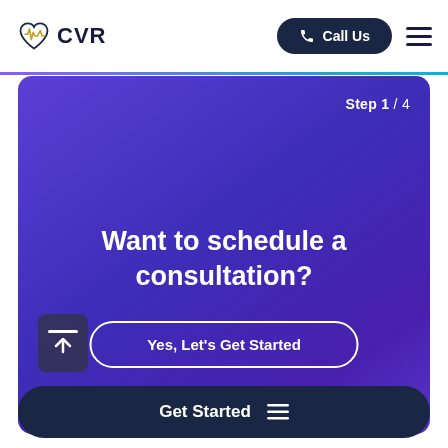[Figure (logo): CVR heart/pulse logo with text 'CVR']
Call Us
[Figure (screenshot): Purple gradient consultation scheduling card showing Step 1/4, 'Want to schedule a consultation?' heading, and 'Yes, Let's Get Started' button]
Step 1 / 4
Want to schedule a consultation?
Yes, Let's Get Started
Get Started